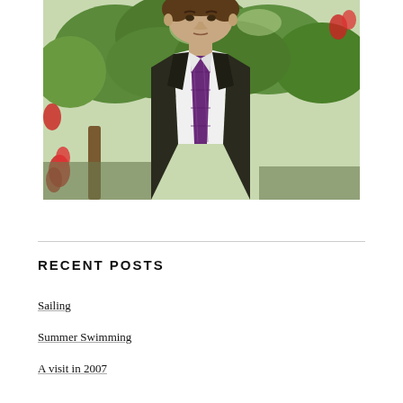[Figure (photo): A man in a dark suit with a purple plaid tie and white dress shirt, standing outdoors in front of trees with red bottle-brush flowers. He is looking directly at the camera with a neutral expression.]
RECENT POSTS
Sailing
Summer Swimming
A visit in 2007